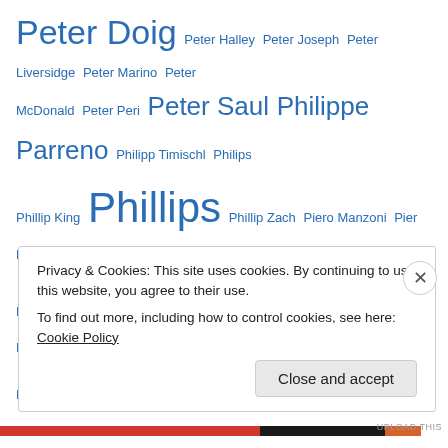Peter Doig Peter Halley Peter Joseph Peter Liversidge Peter Marino Peter McDonald Peter Peri Peter Saul Philippe Parreno Philipp Timischl Philips Phillip King Phillips Phillip Zach Piero Manzoni Pier Paola Calzolari Piotr Lakomy Pipilotti Rist Polly Apfelbaum Ponte Garibaldi Pre Raphaelite Brotherhood Rachel Feinstein Rachel Howard Rachel Rose Rae Hicks Rafal Topolewski Rallou Panagiotou Raphaela Simon Raqib Shaw Raymond Pettibon R Crumb Rebecca Ackroyd Renee So Reto Pulfer Reza Aramesh Rezi Van Lankveld Richard Aldrich Richard Artschwager Richard Avedon Richard Deacon Richard Forster Richard Long Richard Oelze Richard Prince Richard Serra Richard Tuttle Richard Wilson Ricky Swallow Rirkrit Tiravanija Rivane
Privacy & Cookies: This site uses cookies. By continuing to use this website, you agree to their use. To find out more, including how to control cookies, see here: Cookie Policy
Close and accept